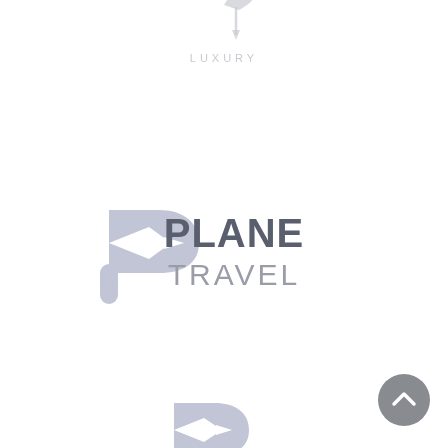[Figure (logo): Luxury brand logo at top center: a stylized leaf/arrow icon in light gray above the word LUXURY in light gray spaced capitals]
[Figure (logo): Plane Travel logo in center: a stylized P icon with arrow in light blue-gray on the left, and the text PLANE in bold dark gray over TRAVEL in lighter gray on the right]
[Figure (logo): Partial Plane Travel logo icon at bottom center, partially cropped]
[Figure (other): Gray circular scroll-to-top button with upward chevron arrow in bottom-right corner]